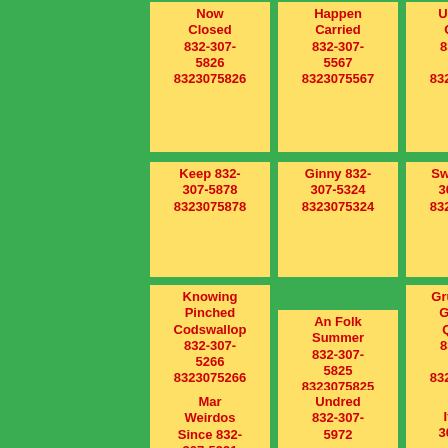Now Closed 832-307-5826 8323075826
Happen Carried 832-307-5567 8323075567
Umbrella Ceiling 832-307-5798 8323075798
Keep 832-307-5878 8323075878
Ginny 832-307-5324 8323075324
Sword 832-307-5261 8323075261
Knowing Pinched Codswallop 832-307-5266 8323075266
An Folk Summer 832-307-5825 8323075825
Grudgingly Groaned Quailed 832-307-5451 8323075451
Mar Weirdos Since 832-307-5991
Undred 832-307-5972
Its 832-307-5888